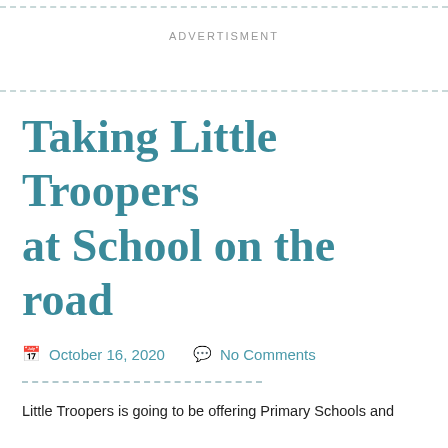ADVERTISMENT
Taking Little Troopers at School on the road
October 16, 2020   No Comments
Little Troopers is going to be offering Primary Schools and